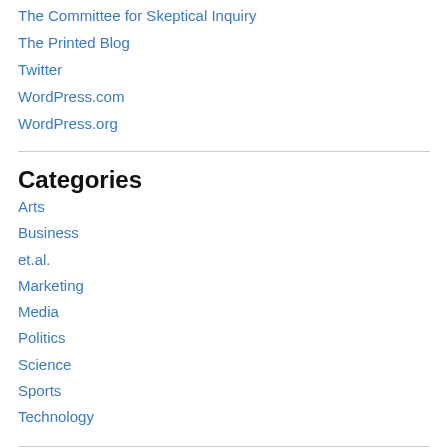The Committee for Skeptical Inquiry
The Printed Blog
Twitter
WordPress.com
WordPress.org
Categories
Arts
Business
et.al.
Marketing
Media
Politics
Science
Sports
Technology
Email Subscription